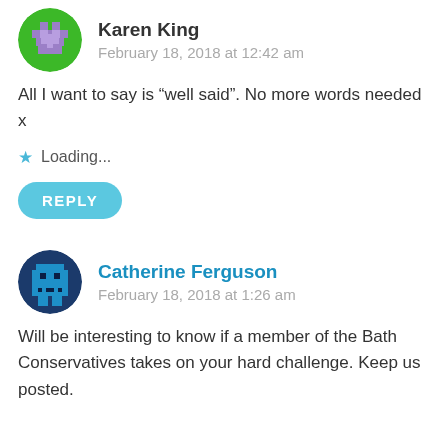Karen King
February 18, 2018 at 12:42 am
All I want to say is “well said”. No more words needed x
Loading...
REPLY
Catherine Ferguson
February 18, 2018 at 1:26 am
Will be interesting to know if a member of the Bath Conservatives takes on your hard challenge. Keep us posted.